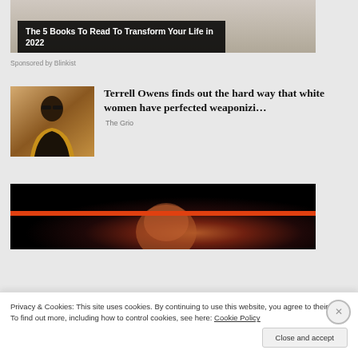[Figure (photo): Ad banner image partially visible at top — The 5 Books To Read To Transform Your Life in 2022, Sponsored by Blinkist]
Sponsored by Blinkist
Terrell Owens finds out the hard way that white women have perfected weaponizi…
The Grio
[Figure (photo): Dark portrait photo, bald man partially illuminated against black background]
Privacy & Cookies: This site uses cookies. By continuing to use this website, you agree to their use.
To find out more, including how to control cookies, see here: Cookie Policy
Close and accept